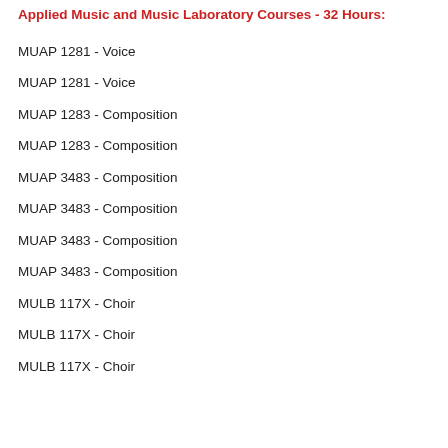Applied Music and Music Laboratory Courses - 32 Hours:
MUAP 1281 - Voice
MUAP 1281 - Voice
MUAP 1283 - Composition
MUAP 1283 - Composition
MUAP 3483 - Composition
MUAP 3483 - Composition
MUAP 3483 - Composition
MUAP 3483 - Composition
MULB 117X - Choir
MULB 117X - Choir
MULB 117X - Choir